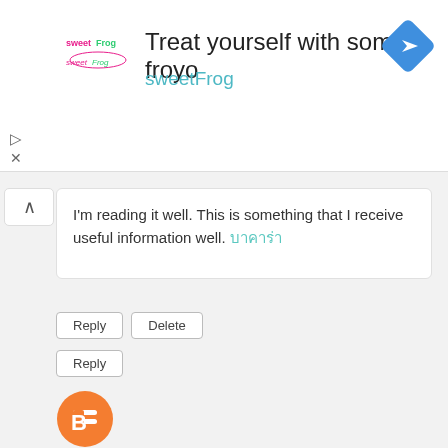[Figure (infographic): SweetFrog frozen yogurt advertisement banner with logo, text 'Treat yourself with some froyo' and 'sweetFrog', and a blue navigation arrow icon]
I'm reading it well. This is something that I receive useful information well. บาคารา่า
Reply | Delete
Reply
[Figure (logo): Blogger orange circle icon with white B]
บาคาร่า    28 April 2021 at 00:32
Please write good things from now on. I'm glad to see such a good comment. แปปโก